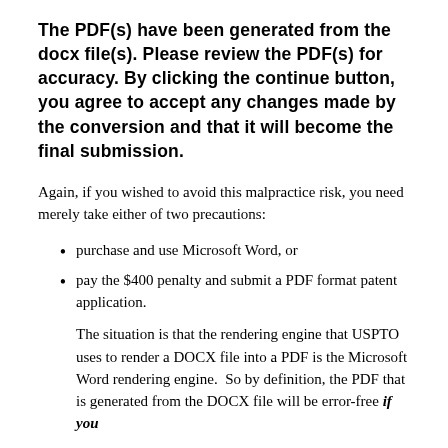The PDF(s) have been generated from the docx file(s). Please review the PDF(s) for accuracy. By clicking the continue button, you agree to accept any changes made by the conversion and that it will become the final submission.
Again, if you wished to avoid this malpractice risk, you need merely take either of two precautions:
purchase and use Microsoft Word, or
pay the $400 penalty and submit a PDF format patent application.
The situation is that the rendering engine that USPTO uses to render a DOCX file into a PDF is the Microsoft Word rendering engine.  So by definition, the PDF that is generated from the DOCX file will be error-free if you